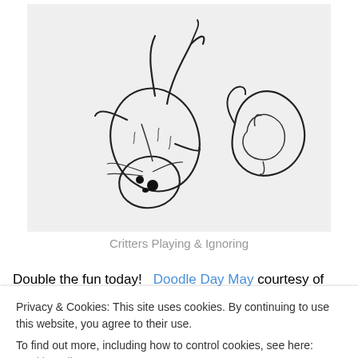[Figure (illustration): Pencil sketch illustration of two animals (cat and dog or similar critters), one lying on its back with legs up and one curled up, playing or ignoring each other. Black and white line drawing.]
Critters Playing & Ignoring
Double the fun today!  Doodle Day May courtesy of Alison
Privacy & Cookies: This site uses cookies. By continuing to use this website, you agree to their use.
To find out more, including how to control cookies, see here: Cookie Policy
whose name is Sully, chases the cat down the hall.  The